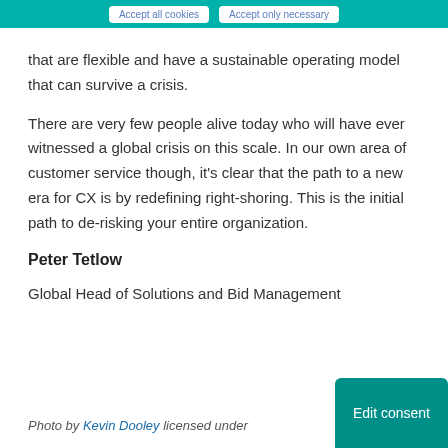Accept all cookies | Accept only necessary
that are flexible and have a sustainable operating model that can survive a crisis.
There are very few people alive today who will ever witnessed a global crisis on this scale. In our own area of customer service though, it's clear that the path to a new era for CX is by redefining right-shoring. This is the initial path to de-risking your entire organization.
Peter Tetlow
Global Head of Solutions and Bid Management
Photo by Kevin Dooley licensed under